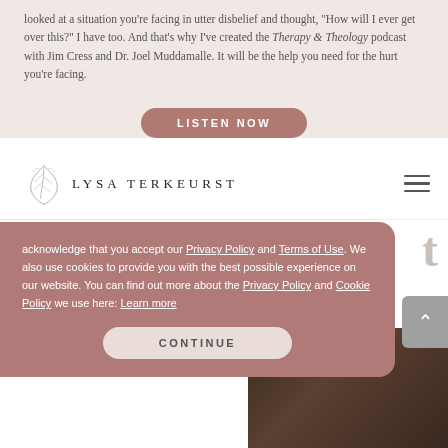looked at a situation you're facing in utter disbelief and thought, "How will I ever get over this?" I have too. And that's why I've created the Therapy & Theology podcast with Jim Cress and Dr. Joel Muddamalle. It will be the help you need for the hurt you're facing.
LISTEN NOW
[Figure (logo): Lysa TerKeurst logo with decorative leaf/botanical illustration above the text]
acknowledge that you accept our Privacy Policy and Terms of Use. We also use cookies to provide you with the best possible experience on our website. You can find out more about the Privacy Policy and Cookie Policy we use here: Learn more
CONTINUE